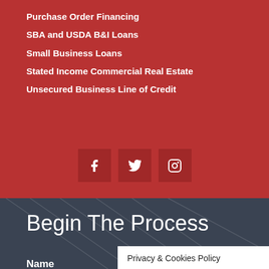Purchase Order Financing
SBA and USDA B&I Loans
Small Business Loans
Stated Income Commercial Real Estate
Unsecured Business Line of Credit
[Figure (infographic): Three social media icon buttons (Facebook, Twitter, Instagram) displayed as dark red squares on a red background]
Begin The Process
Privacy & Cookies Policy
Name